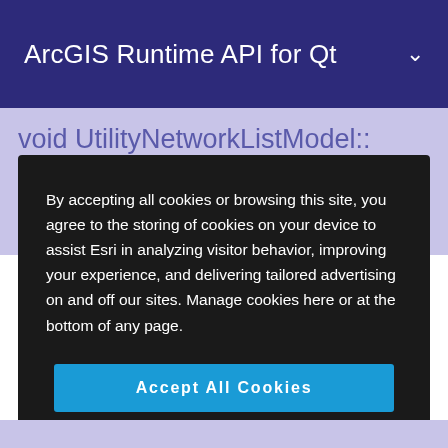ArcGIS Runtime API for Qt
void UtilityNetworkListModel:: insert(int index, Esri::ArcGISRuntime:
By accepting all cookies or browsing this site, you agree to the storing of cookies on your device to assist Esri in analyzing visitor behavior, improving your experience, and delivering tailored advertising on and off our sites. Manage cookies here or at the bottom of any page.
Accept All Cookies
Cookies Settings